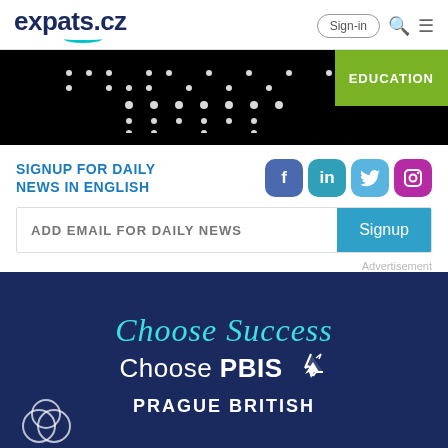expats.cz  Sign-in
[Figure (screenshot): Black banner with dot-matrix style text and EDUCATION green badge on the right]
SIGNUP FOR DAILY NEWS IN ENGLISH
[Figure (infographic): Social media icons: Facebook, LinkedIn, Twitter, Instagram]
ADD EMAIL FOR DAILY NEWS
Signup
Advertisement
[Figure (infographic): Dark blue advertisement banner: Choose Success (teal cursive), Choose PBIS (white bold), cursor icon, PRAGUE BRITISH text, logo circles at bottom left]